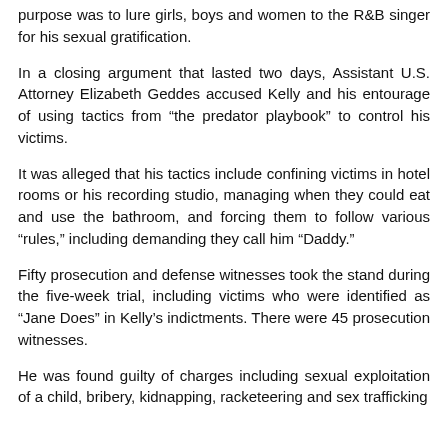purpose was to lure girls, boys and women to the R&B singer for his sexual gratification.
In a closing argument that lasted two days, Assistant U.S. Attorney Elizabeth Geddes accused Kelly and his entourage of using tactics from “the predator playbook” to control his victims.
It was alleged that his tactics include confining victims in hotel rooms or his recording studio, managing when they could eat and use the bathroom, and forcing them to follow various “rules,” including demanding they call him “Daddy.”
Fifty prosecution and defense witnesses took the stand during the five-week trial, including victims who were identified as “Jane Does” in Kelly’s indictments. There were 45 prosecution witnesses.
He was found guilty of charges including sexual exploitation of a child, bribery, kidnapping, racketeering and sex trafficking